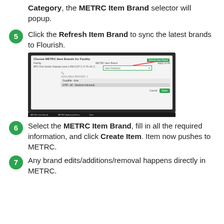Category, the METRC Item Brand selector will popup.
5. Click the Refresh Item Brand to sync the latest brands to Flourish.
[Figure (screenshot): Screenshot of the Choose METRC Item Brands for Facility dialog showing a dropdown for METRC Item Brand, a Refresh Item Brand button, and Cancel/Save buttons.]
6. Select the METRC Item Brand, fill in all the required information, and click Create Item. Item now pushes to METRC.
7. Any brand edits/additions/removal happens directly in METRC.